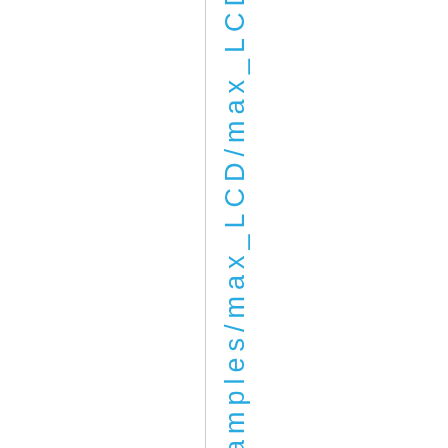amples/max_LCD/max_LCD.ino. Reg